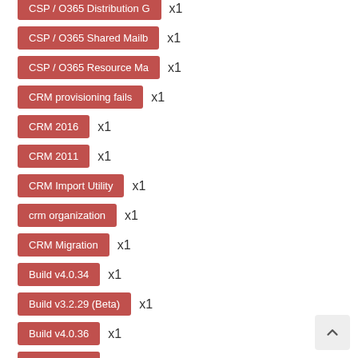CSP / O365 Distribution G... x1
CSP / O365 Shared Mailb... x1
CSP / O365 Resource Ma... x1
CRM provisioning fails x1
CRM 2016 x1
CRM 2011 x1
CRM Import Utility x1
crm organization x1
CRM Migration x1
Build v4.0.34 x1
Build v3.2.29 (Beta) x1
Build v4.0.36 x1
Build v4.1.12 x1